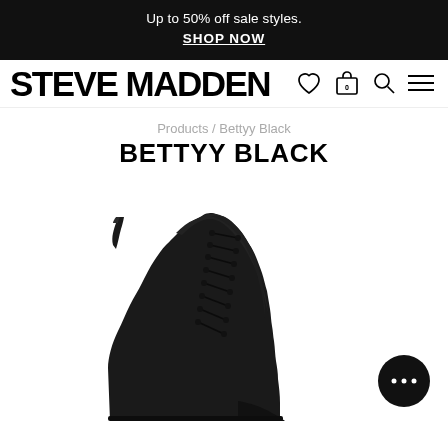Up to 50% off sale styles. SHOP NOW
STEVE MADDEN
Products / Bettyy Black
BETTYY BLACK
[Figure (photo): Black leather lace-up combat boot (Bettyy Black) on white background, showing the side and front of the boot with laces, a pull tab at the back, and a chunky sole.]